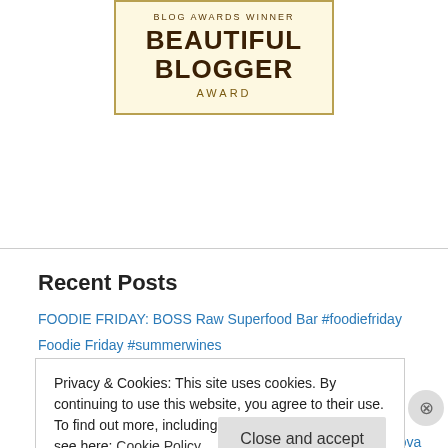[Figure (illustration): Beautiful Blogger Award badge — cream background with gold border, text reading 'BLOG AWARDS WINNER', 'BEAUTIFUL BLOGGER', 'AWARD']
Recent Posts
FOODIE FRIDAY: BOSS Raw Superfood Bar #foodiefriday
Foodie Friday #summerwines
Under Fyre (Alien Dragon Shifters Book 1) #dragonshifters #romance
Try It Tuesday: Citraguard Natural deodorant #allnatural
TRY IT TUESDAY – Moldova Wines Tasting #wines #moldova
Privacy & Cookies: This site uses cookies. By continuing to use this website, you agree to their use. To find out more, including how to control cookies, see here: Cookie Policy